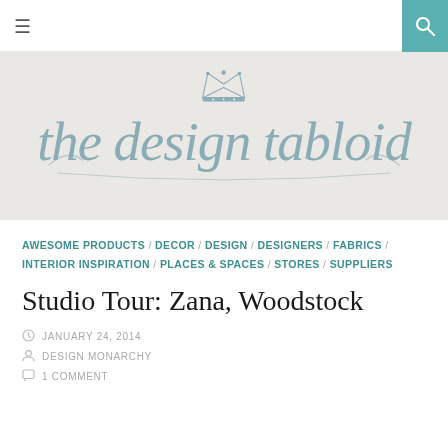≡  [search icon]
[Figure (logo): The Design Tabloid logo in decorative script font with a crown illustration above the text]
AWESOME PRODUCTS / DECOR / DESIGN / DESIGNERS / FABRICS / INTERIOR INSPIRATION / PLACES & SPACES / STORES / SUPPLIERS
Studio Tour: Zana, Woodstock
JANUARY 24, 2014
DESIGN MONARCHY
1 COMMENT